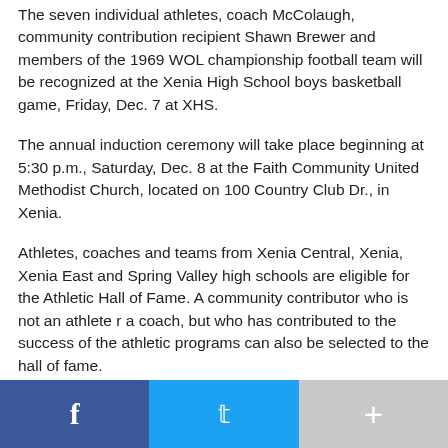The seven individual athletes, coach McColaugh, community contribution recipient Shawn Brewer and members of the 1969 WOL championship football team will be recognized at the Xenia High School boys basketball game, Friday, Dec. 7 at XHS.
The annual induction ceremony will take place beginning at 5:30 p.m., Saturday, Dec. 8 at the Faith Community United Methodist Church, located on 100 Country Club Dr., in Xenia.
Athletes, coaches and teams from Xenia Central, Xenia, Xenia East and Spring Valley high schools are eligible for the Athletic Hall of Fame. A community contributor who is not an athlete r a coach, but who has contributed to the success of the athletic programs can also be selected to the hall of fame.
Any Xenia community member may attend the induction ceremony. Light hors d'oeuvres and desserts will be served. Anyone wishing to attend should contact Gregg Gross at 937-